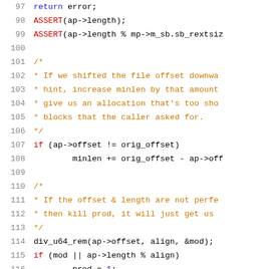Code listing lines 97-117, C source code with line numbers
97     return error;
98     ASSERT(ap->length);
99     ASSERT(ap->length % mp->m_sb.sb_rextsiz
100
101     /*
102      * If we shifted the file offset downwa
103      * hint, increase minlen by that amount
104      * give us an allocation that's too sho
105      * blocks that the caller asked for.
106      */
107     if (ap->offset != orig_offset)
108             minlen += orig_offset - ap->off
109
110     /*
111      * If the offset & length are not perfe
112      * then kill prod, it will just get us
113      */
114     div_u64_rem(ap->offset, align, &mod);
115     if (mod || ap->length % align)
116             prod = 1;
117     /*